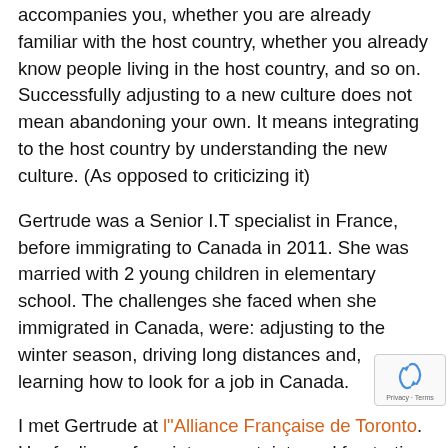accompanies you, whether you are already familiar with the host country, whether you already know people living in the host country, and so on. Successfully adjusting to a new culture does not mean abandoning your own. It means integrating to the host country by understanding the new culture. (As opposed to criticizing it)
Gertrude was a Senior I.T specialist in France, before immigrating to Canada in 2011. She was married with 2 young children in elementary school. The challenges she faced when she immigrated in Canada, were: adjusting to the winter season, driving long distances and, learning how to look for a job in Canada.
I met Gertrude at l"Alliance Française de Toronto. Her feelings of anxiety, uncertainty and frustration were palpable. Once I introduced myself and what I do, Gertrude recognized I can be the conduit to her integration to the Canadian culture and help her